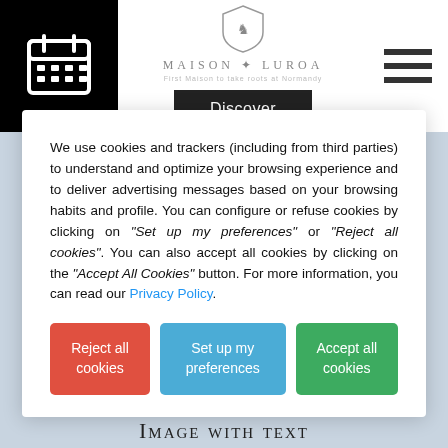[Figure (screenshot): Website header with black left panel containing calendar icon, center Maison Luroa logo with shield and brand name, Discover button below, and hamburger menu on right]
We use cookies and trackers (including from third parties) to understand and optimize your browsing experience and to deliver advertising messages based on your browsing habits and profile. You can configure or refuse cookies by clicking on "Set up my preferences" or "Reject all cookies". You can also accept all cookies by clicking on the "Accept All Cookies" button. For more information, you can read our Privacy Policy.
Reject all cookies
Set up my preferences
Accept all cookies
Image with text